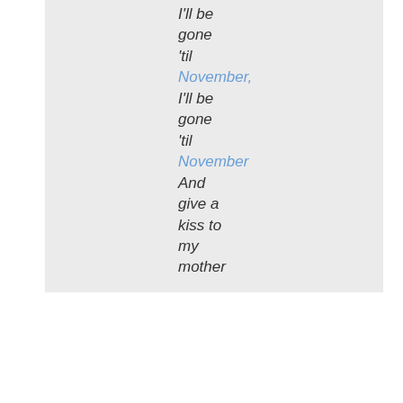I'll be gone 'til November, I'll be gone 'til November And give a kiss to my mother
[Figure (infographic): Social sharing bar with Twitter, Facebook, color swatch, QR code, StumbleUpon, Reddit icons, 'I like it!' button, and '4 C!s' count]
| November | Wyclef Jean | Haiti | 1997 |
| --- | --- | --- | --- |
| What Should I Do with My Life? | Port-au-Prince | ultrasound | Polio |